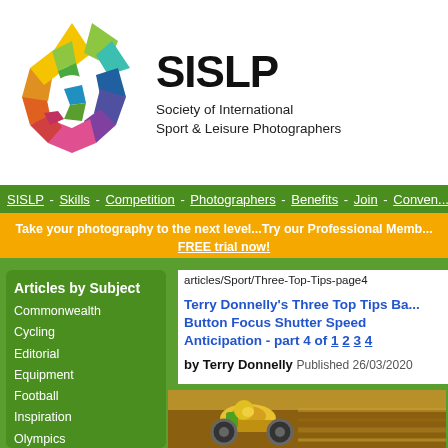[Figure (logo): SISLP colorful pinwheel/flower logo made of colored polygon petals]
SISLP Society of International Sport & Leisure Photographers
SISLP - Skills - Competition - Photographers - Benefits - Join - Conven...
Take your photography to the next level...Try our Professional Memb... FREE trial now!
Articles by Subject
Commonwealth
Cycling
Editorial
Equipment
Football
Inspiration
Olympics
Profiles
Review
articles/Sport/Three-Top-Tips-page4
Terry Donnelly's Three Top Tips Ba... Button Focus Shutter Speed Anticipation - part 4 of 1 2 3 4
by Terry Donnelly Published 26/03/2020
[Figure (photo): Motorcycle racing photo showing a yellow-suited rider on track]